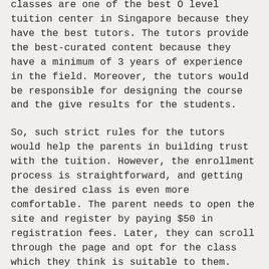classes are one of the best O level tuition center in Singapore because they have the best tutors. The tutors provide the best-curated content because they have a minimum of 3 years of experience in the field. Moreover, the tutors would be responsible for designing the course and the give results for the students.
So, such strict rules for the tutors would help the parents in building trust with the tuition. However, the enrollment process is straightforward, and getting the desired class is even more comfortable. The parent needs to open the site and register by paying $50 in registration fees. Later, they can scroll through the page and opt for the class which they think is suitable to them. However, if the time does not suit you